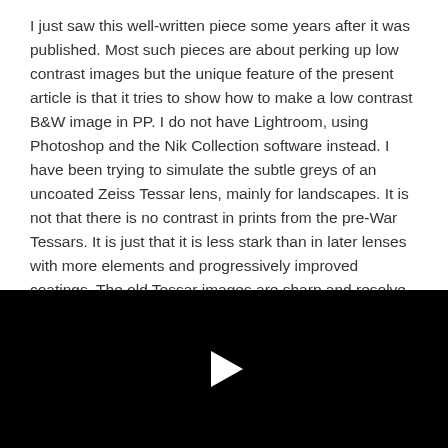I just saw this well-written piece some years after it was published. Most such pieces are about perking up low contrast images but the unique feature of the present article is that it tries to show how to make a low contrast B&W image in PP. I do not have Lightroom, using Photoshop and the Nik Collection software instead. I have been trying to simulate the subtle greys of an uncoated Zeiss Tessar lens, mainly for landscapes. It is not that there is no contrast in prints from the pre-War Tessars. It is just that it is less stark than in later lenses with more elements and progressively improved coatings. The old Tessar images are sharp and resolve detail
[Figure (other): Black video player with a white play button triangle in the center]